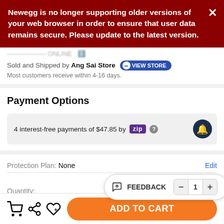Newegg is no longer supporting older versions of your web browser in order to ensure that user data remains secure. Please update to the latest version.
Sold and Shipped by Ang Sai Store VIEW STORE
Most customers receive within 4-16 days.
Payment Options
4 interest-free payments of $47.85 by zip ?
Protection Plan: None   Edit
Quantity:
FEEDBACK
ADD TO CART